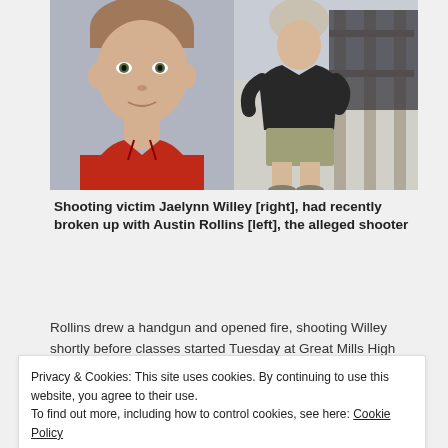[Figure (photo): Two photos side by side: left shows a young male with red shirt (Austin Rollins), right shows a female in black top and khaki shorts standing by a fence (Jaelynn Willey)]
Shooting victim Jaelynn Willey [right], had recently broken up with Austin Rollins [left], the alleged shooter
Rollins drew a handgun and opened fire, shooting Willey shortly before classes started Tuesday at Great Mills High School.
Privacy & Cookies: This site uses cookies. By continuing to use this website, you agree to their use.
To find out more, including how to control cookies, see here: Cookie Policy
Close and accept